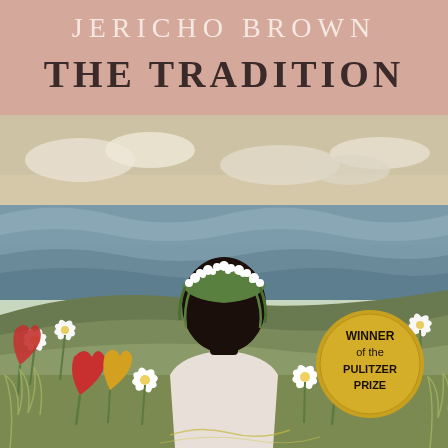JERICHO BROWN
THE TRADITION
[Figure (illustration): Book cover illustration showing a dark-skinned figure wearing a floral crown made of white flowers and green foliage, standing amid a garden of white daffodils, red and yellow tulips, with a painted ocean scene in the background featuring waves and clouds. The figure wears a white shirt.]
WINNER of the PULITZER PRIZE